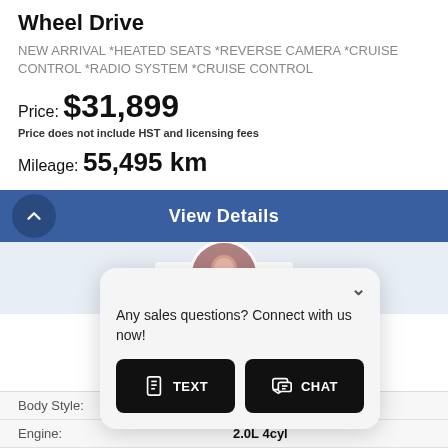Wheel Drive
NEW ARRIVAL *HEATED SEATS *REVERSE CAMERA *CRUISE CONTROL *RADIO SYSTEM *CRUISE CONTROL
Price: $31,899
Price does not include HST and licensing fees
Mileage: 55,495 km
[Figure (other): Blue View Details button with upward chevron circle on left]
[Figure (other): Car dealership logo banner showing CARFLY with maple leaf and circular agent avatar photo]
[Figure (other): Chat widget with agent avatar, dismiss chevron, sales question text, TEXT and CHAT buttons]
| Field | Value |
| --- | --- |
| Body Style: | SUV |
| Engine: | 2.0L 4cyl |